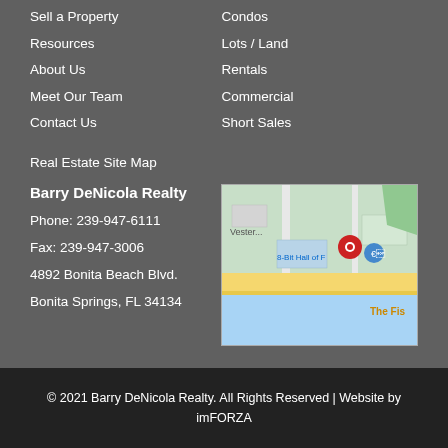Sell a Property
Resources
About Us
Meet Our Team
Contact Us
Condos
Lots / Land
Rentals
Commercial
Short Sales
Real Estate Site Map
Barry DeNicola Realty
Phone: 239-947-6111
Fax: 239-947-3006
4892 Bonita Beach Blvd.
Bonita Springs, FL 34134
[Figure (map): Google Maps screenshot showing location near 8-Bit Hall of Fame, Bonita Springs area with red pin marker, yellow road, blue water areas]
© 2021 Barry DeNicola Realty. All Rights Reserved | Website by imFORZA